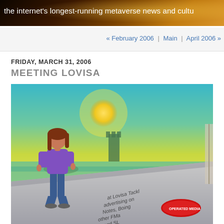the internet's longest-running metaverse news and cultu…
« February 2006 | Main | April 2006 »
FRIDAY, MARCH 31, 2006
MEETING LOVISA
[Figure (screenshot): Screenshot from a virtual world (likely Second Life) showing a female avatar with long auburn hair, wearing a purple long-sleeve top and blue jeans, standing on a grey platform. Background shows a teal/green sky with a yellow sun, green water, and a castle tower in the distance. The platform has text reading 'at Lovisa Tackl... advertising on... Notes, Boing... other FMa... LS and SL...' and a red logo sign in the bottom right.]